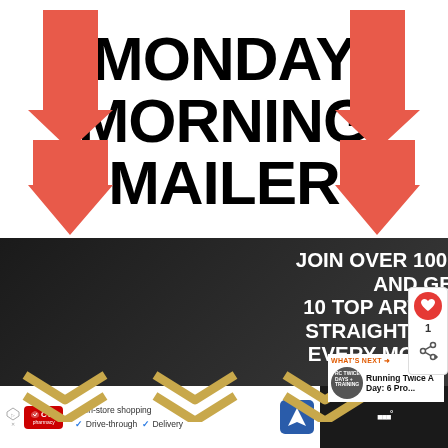MONDAY MORNING MAILER
[Figure (illustration): Red downward arrows on left and right sides of title]
[Figure (photo): Dark banner with white bold text reading 'JOIN OVER 100,000 RUNNERS AND GET OUR 10 TOP ARTICLES AND TIPS, STRAIGHT TO YOUR INBOX, EVERY MONDAY MORNING:' with gold chevrons below, set over a dark photo of a runner]
[Figure (other): What's Next promo: 'Running Twice A Day: 6 Pro...' with small circular thumbnail]
[Figure (other): Bottom advertisement bar with CVS Pharmacy logo showing In-store shopping, Drive-through, Delivery options and navigation icon]